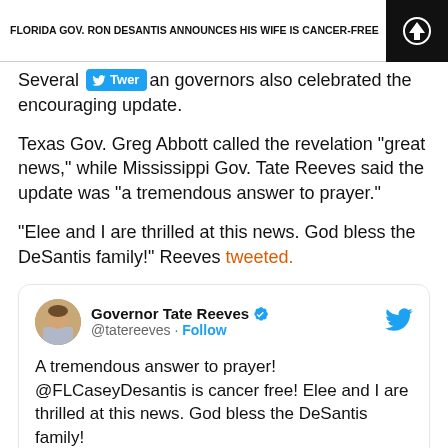FLORIDA GOV. RON DESANTIS ANNOUNCES HIS WIFE IS CANCER-FREE
Several Republican governors also celebrated the encouraging update.
Texas Gov. Greg Abbott called the revelation "great news," while Mississippi Gov. Tate Reeves said the update was "a tremendous answer to prayer."
"Elee and I are thrilled at this news. God bless the DeSantis family!" Reeves tweeted.
[Figure (screenshot): Embedded tweet from Governor Tate Reeves (@tatereeves) with Follow button and Twitter bird logo. Tweet text: A tremendous answer to prayer! @FLCaseyDesantis is cancer free! Elee and I are thrilled at this news. God bless the DeSantis family!]